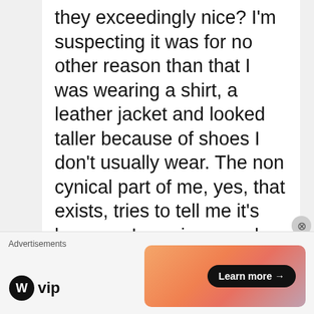they exceedingly nice? I'm suspecting it was for no other reason than that I was wearing a shirt, a leather jacket and looked taller because of shoes I don't usually wear. The non cynical part of me, yes, that exists, tries to tell me it's because I was in a good mood, and they could sense that, plus they have holidays tomorrow and spring is edging closer. What certainly stands out, for me, is the emphasis on tradition and motherhood. Their
Advertisements
[Figure (other): WordPress VIP logo and advertisement banner with 'Learn more' button on a gradient orange/pink background]